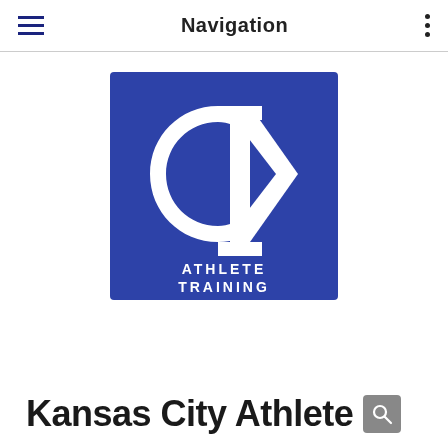Navigation
[Figure (logo): Kansas City Athlete Training logo: blue square with interlocked KC monogram in white and text 'ATHLETE TRAINING' below the monogram]
Kansas City Athlete